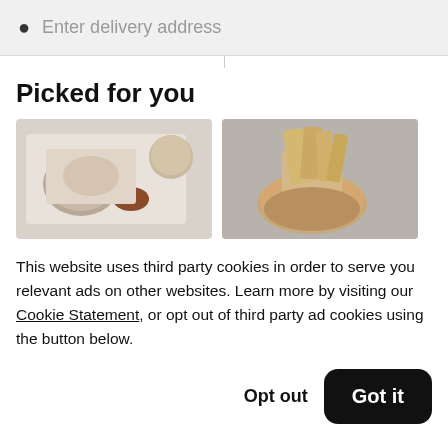Enter delivery address
Picked for you
[Figure (photo): Two food images side by side: left shows an overhead view of a meal with a wrap, fried items, dipping sauce, and a bowl of nuts on a tray; right shows a burger and fries in a cup against a grey background.]
This website uses third party cookies in order to serve you relevant ads on other websites. Learn more by visiting our Cookie Statement, or opt out of third party ad cookies using the button below.